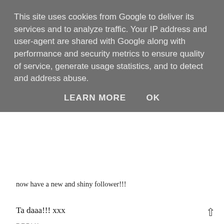This site uses cookies from Google to deliver its services and to analyze traffic. Your IP address and user-agent are shared with Google along with performance and security metrics to ensure quality of service, generate usage statistics, and to detect and address abuse.
LEARN MORE    OK
now have a new and shiny follower!!!
Ta daaa!!! xxx
REPLY
hermes bag outlet
2 JANUARY 2013 AT 06:48
Your backpack it's so beautiful, I like it vey much, I also bought on at cheap chanel handbags , If you want one too. can visit this address, The backpacks are